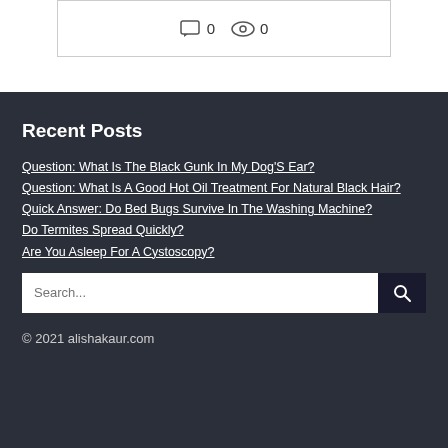[Figure (other): Comment icon with count 0 and eye/views icon with count 0]
Recent Posts
Question: What Is The Black Gunk In My Dog'S Ear?
Question: What Is A Good Hot Oil Treatment For Natural Black Hair?
Quick Answer: Do Bed Bugs Survive In The Washing Machine?
Do Termites Spread Quickly?
Are You Asleep For A Cystoscopy?
Search...
© 2021 alishakaur.com